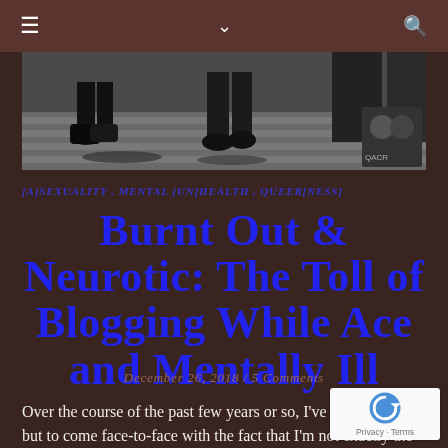≡  ∨  🔍
[Figure (photo): Black and white photo showing legs and feet of several people walking on a street crosswalk]
[A]SEXUALITY, MENTAL [UN]HEALTH, QUEER[NESS]
Burnt Out & Neurotic: The Toll of Blogging While Ace and Mentally Ill
December 26, 2018 / 5 Comments
Over the course of the past few years or so, I've had no choice but to come face-to-face with the fact that I'm not exactly the spitting image of mental health. That, in